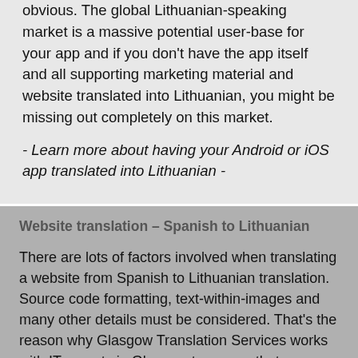obvious. The global Lithuanian-speaking market is a massive potential user-base for your app and if you don't have the app itself and all supporting marketing material and website translated into Lithuanian, you might be missing out completely on this market.
- Learn more about having your Android or iOS app translated into Lithuanian -
Website translation – Spanish to Lithuanian
There are lots of factors involved when translating a website from Spanish to Lithuanian translation. Source code formatting, text-within-images and many other details must be considered. That's the reason why Glasgow Translation Services works with IT experts in Glasgow to ensure that your website translated into Lithuanian is completed to the highest standard.